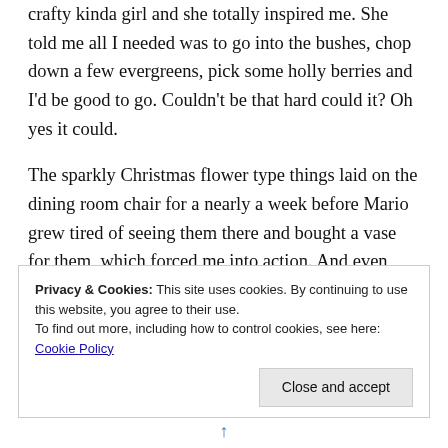crafty kinda girl and she totally inspired me. She told me all I needed was to go into the bushes, chop down a few evergreens, pick some holly berries and I'd be good to go. Couldn't be that hard could it? Oh yes it could.
The sparkly Christmas flower type things laid on the dining room chair for a nearly a week before Mario grew tired of seeing them there and bought a vase for them, which forced me into action. And even though I grew up on a farm, and my parents still live on that farm, and evergreens would have been easily attainable, I'm a girly girl, I so went out and bought them. I brought them home, stuffed them in the
Privacy & Cookies: This site uses cookies. By continuing to use this website, you agree to their use.
To find out more, including how to control cookies, see here: Cookie Policy
[Close and accept]